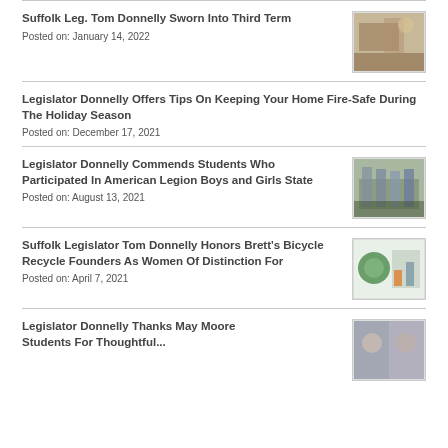Suffolk Leg. Tom Donnelly Sworn Into Third Term
Posted on: January 14, 2022
Legislator Donnelly Offers Tips On Keeping Your Home Fire-Safe During The Holiday Season
Posted on: December 17, 2021
Legislator Donnelly Commends Students Who Participated In American Legion Boys and Girls State
Posted on: August 13, 2021
Suffolk Legislator Tom Donnelly Honors Brett's Bicycle Recycle Founders As Women Of Distinction For
Posted on: April 7, 2021
Legislator Donnelly Thanks May Moore Students For Thoughtful...